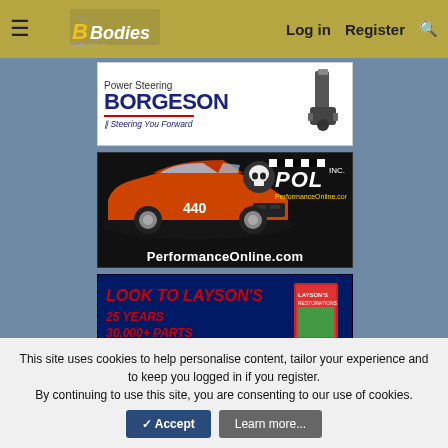FBodies.com navigation bar with hamburger menu, logo, Log in, Register, Search
[Figure (screenshot): Borgeson Power Steering advertisement banner - white background with dark blue BORGESON logo, steering rack image, tagline 'Steering You Forward']
[Figure (screenshot): Performance Online (POL Inc.) advertisement - black background with orange classic muscle car with 440 badge, skull/racing logo, PerformanceOnline.com text]
[Figure (screenshot): Layson's Restorations advertisement - dark blue background, red italic text 'LOOK TO LAYSON'S', '25 YEARS 30,000+ PARTS', 'www.Laysons.com', person holding catalog book]
This site uses cookies to help personalise content, tailor your experience and to keep you logged in if you register. By continuing to use this site, you are consenting to our use of cookies.
✓ Accept  Learn more...